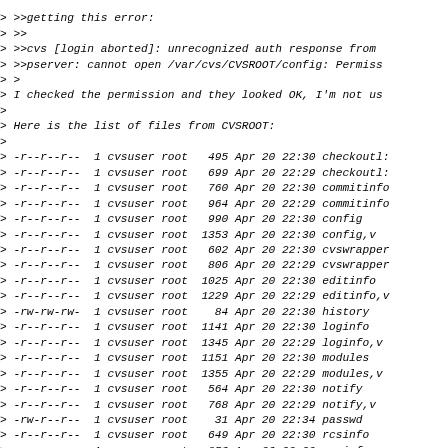> >>getting this error:
> >>
> >>cvs [login aborted]: unrecognized auth response from
> >>pserver: cannot open /var/cvs/CVSROOT/config: Permiss
> >
> I checked the permission and they looked OK, I'm not us
>
> Here is the list of files from CVSROOT:
>
> -r--r--r--  1 cvsuser root   495 Apr 20 22:30 checkoutl:
> -r--r--r--  1 cvsuser root   699 Apr 20 22:29 checkoutl:
> -r--r--r--  1 cvsuser root   760 Apr 20 22:30 commitinfo
> -r--r--r--  1 cvsuser root   964 Apr 20 22:29 commitinfo
> -r--r--r--  1 cvsuser root   990 Apr 20 22:30 config
> -r--r--r--  1 cvsuser root  1353 Apr 20 22:30 config,v
> -r--r--r--  1 cvsuser root   602 Apr 20 22:30 cvswrapper
> -r--r--r--  1 cvsuser root   806 Apr 20 22:29 cvswrapper
> -r--r--r--  1 cvsuser root  1025 Apr 20 22:30 editinfo
> -r--r--r--  1 cvsuser root  1229 Apr 20 22:29 editinfo,v
> -rw-rw-rw-  1 cvsuser root    84 Apr 20 22:30 history
> -r--r--r--  1 cvsuser root  1141 Apr 20 22:30 loginfo
> -r--r--r--  1 cvsuser root  1345 Apr 20 22:29 loginfo,v
> -r--r--r--  1 cvsuser root  1151 Apr 20 22:30 modules
> -r--r--r--  1 cvsuser root  1355 Apr 20 22:29 modules,v
> -r--r--r--  1 cvsuser root   564 Apr 20 22:30 notify
> -r--r--r--  1 cvsuser root   768 Apr 20 22:29 notify,v
> -rw-r--r--  1 cvsuser root    31 Apr 20 22:34 passwd
> -r--r--r--  1 cvsuser root   649 Apr 20 22:30 rcsinfo
> -r--r--r--  1 cvsuser root   853 Apr 20 22:29 rcsinfo,v
> -r--r--r--  1 cvsuser root   879 Apr 20 22:30 taginfo